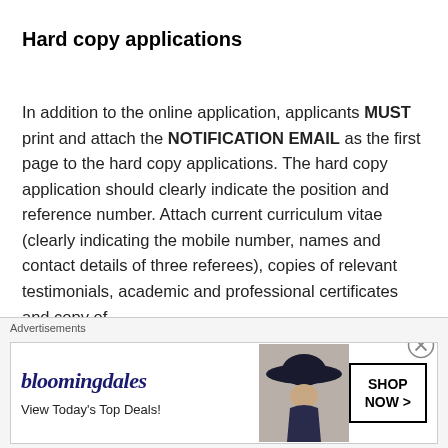Hard copy applications
In addition to the online application, applicants MUST print and attach the NOTIFICATION EMAIL as the first page to the hard copy applications. The hard copy application should clearly indicate the position and reference number. Attach current curriculum vitae (clearly indicating the mobile number, names and contact details of three referees), copies of relevant testimonials, academic and professional certificates and copy of national identity card
[Figure (other): Bloomingdales advertisement banner with logo, 'View Today's Top Deals!' text, woman with hat image, and 'SHOP NOW >' button]